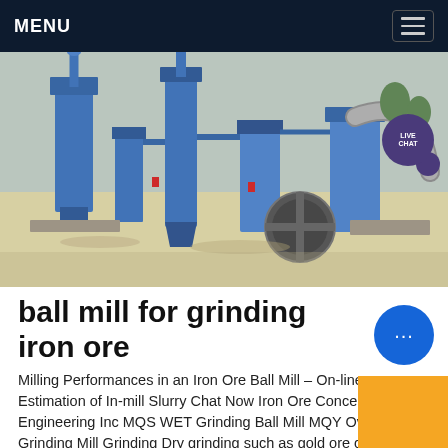MENU
[Figure (photo): Aerial view of industrial ball mill grinding plant with blue machinery, silos, conveyor pipes and equipment on sandy ground.]
ball mill for grinding iron ore
Milling Performances in an Iron Ore Ball Mill – On-line Estimation of In-mill Slurry Chat Now Iron Ore Concentrator - Engineering Inc MQS WET Grinding Ball Mill MQY Overfolw Grinding Mill Grinding Dry grinding such as gold ore copper ore iron ore and zinc ore and so